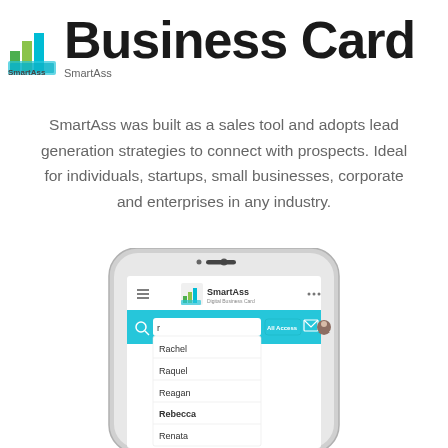Business Card
SmartAss was built as a sales tool and adopts lead generation strategies to connect with prospects. Ideal for individuals, startups, small businesses, corporate and enterprises in any industry.
[Figure (screenshot): Smartphone showing the SmartAss Digital Business Card app interface with a search bar showing 'r' typed, an 'All Access' button, and a dropdown list showing names: Rachel, Raquel, Reagan, Rebecca, Renata]